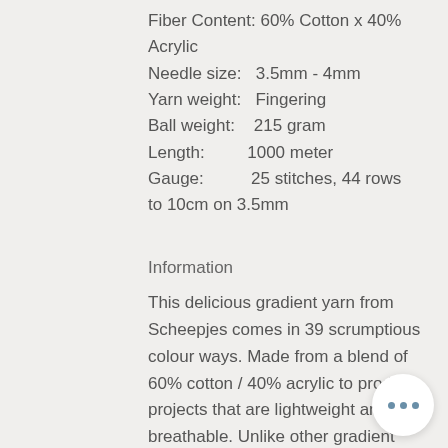Fiber Content: 60% Cotton x 40% Acrylic
Needle size:   3.5mm - 4mm
Yarn weight:   Fingering
Ball weight:   215 gram
Length:        1000 meter
Gauge:         25 stitches, 44 rows to 10cm on 3.5mm
Information
This delicious gradient yarn from Scheepjes comes in 39 scrumptious colour ways. Made from a blend of 60% cotton / 40% acrylic to produce projects that are lightweight and breathable. Unlike other gradient yarns, Whirl has a generous twist to enable speed while working the yarn and